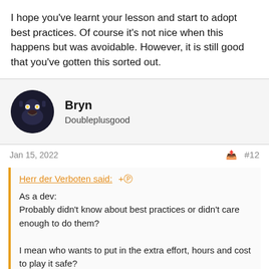I hope you've learnt your lesson and start to adopt best practices. Of course it's not nice when this happens but was avoidable. However, it is still good that you've gotten this sorted out.
Bryn
Doubleplusgood
Jan 15, 2022
#12
Herr der Verboten said:
As a dev:
Probably didn't know about best practices or didn't care enough to do them?

I mean who wants to put in the extra effort, hours and cost to play it safe?

I've worked with a developer before who had no source control
Click to expand...
A few months in the industry should have sorted out an attitude